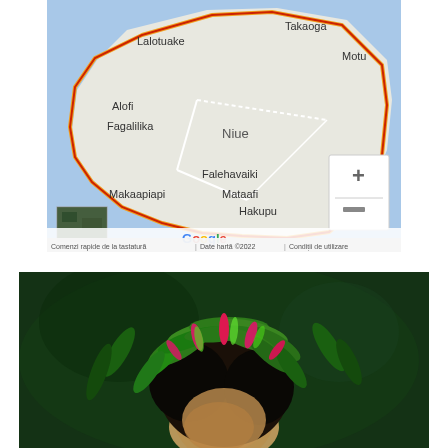[Figure (map): Google Maps screenshot showing the island of Niue with labeled locations: Lalotuake, Takaoga, Motu, Alofi, Fagalilika, Niue, Falehavaiki, Makaapiapi, Mataafi, Hakupu. Map has a red/orange island outline border, zoom controls (+/-), a small satellite thumbnail, and Google branding. Bottom bar reads: Comenzi rapide de la tastatură | Date hartă ©2022 | Condiții de utilizare]
[Figure (photo): Close-up photograph of a person wearing a traditional leafy green and pink/red headdress or lei made of tropical leaves and flower buds, against a dark green background.]